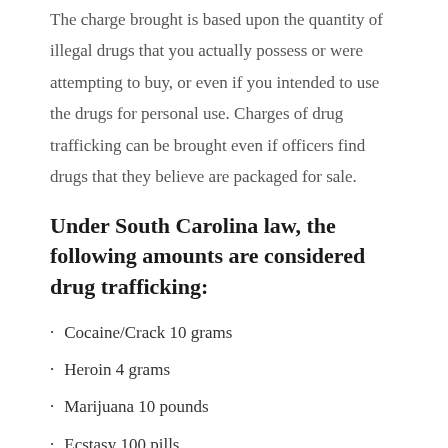The charge brought is based upon the quantity of illegal drugs that you actually possess or were attempting to buy, or even if you intended to use the drugs for personal use. Charges of drug trafficking can be brought even if officers find drugs that they believe are packaged for sale.
Under South Carolina law, the following amounts are considered drug trafficking:
Cocaine/Crack 10 grams
Heroin 4 grams
Marijuana 10 pounds
Ecstasy 100 pills